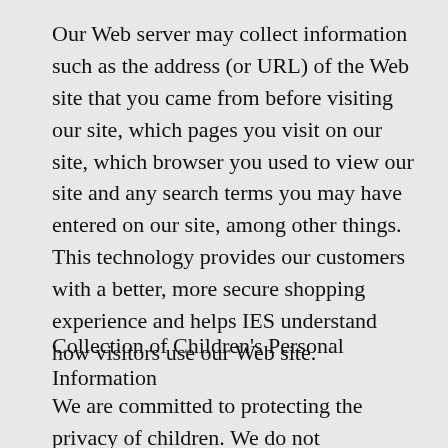Our Web server may collect information such as the address (or URL) of the Web site that you came from before visiting our site, which pages you visit on our site, which browser you used to view our site and any search terms you may have entered on our site, among other things. This technology provides our customers with a better, more secure shopping experience and helps IES understand how visitors use our Web site.
Collection of Children's Personal Information
We are committed to protecting the privacy of children. We do not knowingly or intentionally collect any information from...